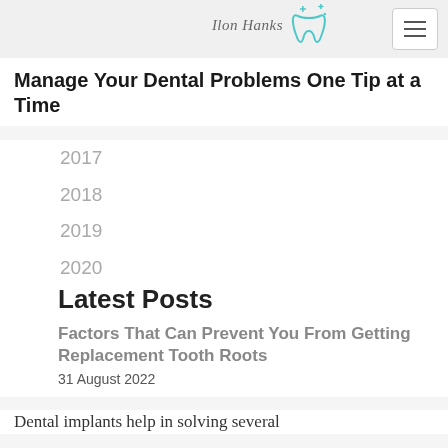[Figure (logo): Dental blog logo with script text 'Ilon Hanks' and a teal tooth icon with sparkles]
Manage Your Dental Problems One Tip at a Time
2017
2018
2019
2020
2021
2022
Latest Posts
Factors That Can Prevent You From Getting Replacement Tooth Roots
31 August 2022
Dental implants help in solving several